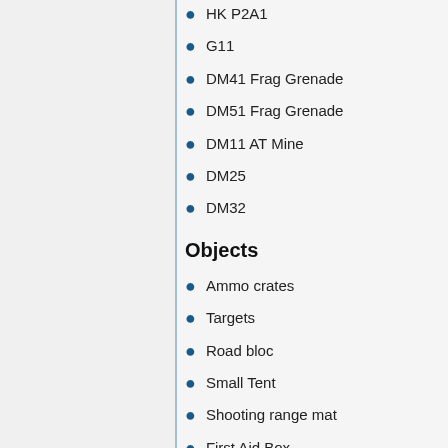HK P2A1
G11
DM41 Frag Grenade
DM51 Frag Grenade
DM11 AT Mine
DM25
DM32
Objects
Ammo crates
Targets
Road bloc
Small Tent
Shooting range mat
First Aid Box
Some Vehicles also included in winter and NATO camo.
Credits